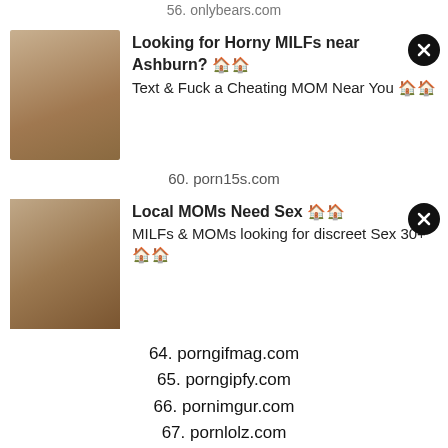56. onlybears.com
[Figure (photo): Ad image of woman sitting in chair]
Looking for Horny MILFs near Ashburn? 🏠🏠
Text & Fuck a Cheating MOM Near You 🏠🏠
60. porn15s.com
[Figure (photo): Ad image of woman portrait]
Local MOMs Need Sex 🏠🏠
MILFs & MOMs looking for discreet Sex 30+ 🏠🏠
64. porngifmag.com
65. porngipfy.com
66. pornimgur.com
67. pornlolz.com
68. pornwithtext.com
69. pussyexe.com
70. pussynudes.com
71. realgirlsonly.com